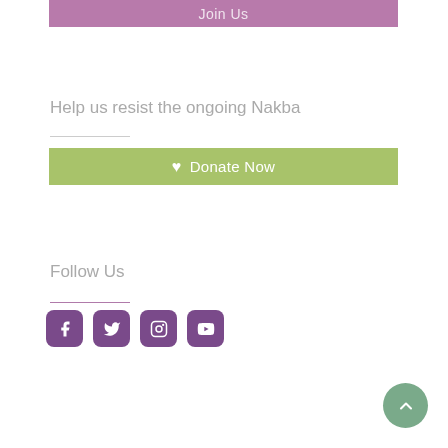Join Us
Help us resist the ongoing Nakba
Donate Now
Follow Us
[Figure (other): Social media icons: Facebook, Twitter, Instagram, YouTube]
[Figure (other): Back to top button (upward arrow in teal circle)]